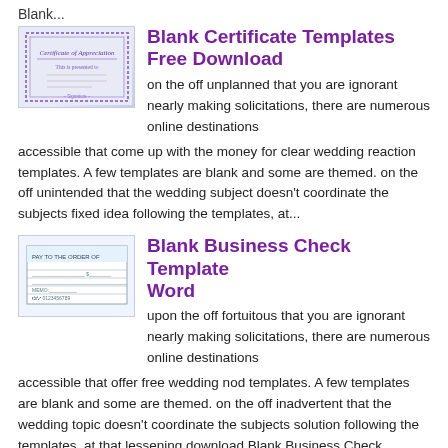Blank...
[Figure (illustration): Thumbnail image of a certificate of appreciation template with decorative border]
Blank Certificate Templates Free Download
on the off unplanned that you are ignorant nearly making solicitations, there are numerous online destinations accessible that come up with the money for clear wedding reaction templates. A few templates are blank and some are themed. on the off unintended that the wedding subject doesn't coordinate the subjects fixed idea following the templates, at...
[Figure (illustration): Thumbnail image of a blank business check template]
Blank Business Check Template Word
upon the off fortuitous that you are ignorant nearly making solicitations, there are numerous online destinations accessible that offer free wedding nod templates. A few templates are blank and some are themed. on the off inadvertent that the wedding topic doesn't coordinate the subjects solution following the templates, at that lessening download Blank Business Check...
Previous post